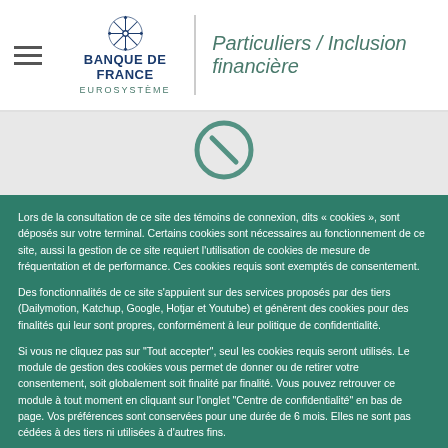Banque de France Eurosystème — Particuliers / Inclusion financière
Lors de la consultation de ce site des témoins de connexion, dits « cookies », sont déposés sur votre terminal. Certains cookies sont nécessaires au fonctionnement de ce site, aussi la gestion de ce site requiert l'utilisation de cookies de mesure de fréquentation et de performance. Ces cookies requis sont exemptés de consentement.
Des fonctionnalités de ce site s'appuient sur des services proposés par des tiers (Dailymotion, Katchup, Google, Hotjar et Youtube) et génèrent des cookies pour des finalités qui leur sont propres, conformément à leur politique de confidentialité.
Si vous ne cliquez pas sur "Tout accepter", seul les cookies requis seront utilisés. Le module de gestion des cookies vous permet de donner ou de retirer votre consentement, soit globalement soit finalité par finalité. Vous pouvez retrouver ce module à tout moment en cliquant sur l'onglet "Centre de confidentialité" en bas de page. Vos préférences sont conservées pour une durée de 6 mois. Elles ne sont pas cédées à des tiers ni utilisées à d'autres fins.
Tout accepter
Tout refuser
Personnaliser